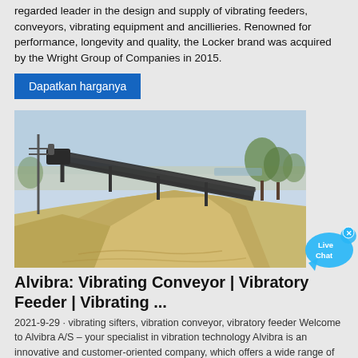regarded leader in the design and supply of vibrating feeders, conveyors, vibrating equipment and ancillieries. Renowned for performance, longevity and quality, the Locker brand was acquired by the Wright Group of Companies in 2015.
Dapatkan harganya
[Figure (photo): Outdoor photo of a conveyor belt system over a large pile of sand or gravel aggregate at an industrial or mining site, with trees and sky in the background.]
[Figure (infographic): Live Chat speech bubble icon in blue with 'x' close button in top right]
Alvibra: Vibrating Conveyor | Vibratory Feeder | Vibrating ...
2021-9-29 · vibrating sifters, vibration conveyor, vibratory feeder Welcome to Alvibra A/S – your specialist in vibration technology Alvibra is an innovative and customer-oriented company, which offers a wide range of conveyors, feeders & sifters based on vibration technology to handle powder and